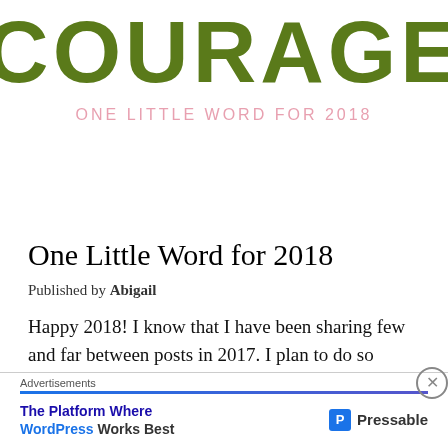[Figure (illustration): Large stylized text 'COURAGE' in dark olive/green color with subtitle 'ONE LITTLE WORD FOR 2018' in pink below it on white background]
One Little Word for 2018
Published by Abigail
Happy 2018! I know that I have been sharing few and far between posts in 2017. I plan to do so MUCH more blogging this year! I so inspired
Advertisements
The Platform Where WordPress Works Best   [P] Pressable